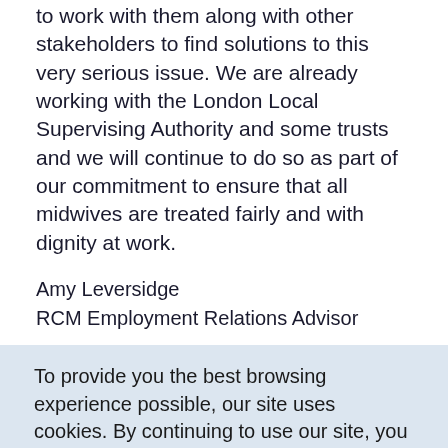to work with them along with other stakeholders to find solutions to this very serious issue. We are already working with the London Local Supervising Authority and some trusts and we will continue to do so as part of our commitment to ensure that all midwives are treated fairly and with dignity at work.
Amy Leversidge
RCM Employment Relations Advisor
To provide you the best browsing experience possible, our site uses cookies. By continuing to use our site, you accept our use of cookies. Learn more about cookies we use.
ACCEPT COOKIES